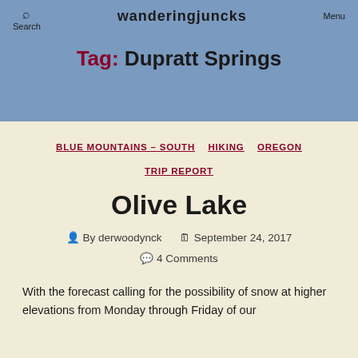Search  wanderingjuncks  Menu
Tag: Dupratt Springs
BLUE MOUNTAINS – SOUTH  HIKING  OREGON  TRIP REPORT
Olive Lake
By derwoodynck  September 24, 2017  4 Comments
With the forecast calling for the possibility of snow at higher elevations from Monday through Friday of our